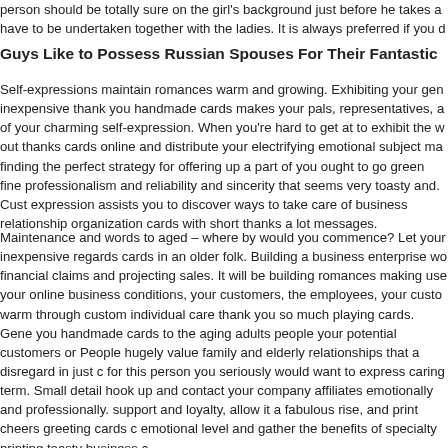person should be totally sure on the girl's background just before he takes a have to be undertaken together with the ladies. It is always preferred if you d
Guys Like to Possess Russian Spouses For Their Fantastic
Self-expressions maintain romances warm and growing. Exhibiting your gen inexpensive thank you handmade cards makes your pals, representatives, a of your charming self-expression. When you're hard to get at to exhibit the w out thanks cards online and distribute your electrifying emotional subject ma finding the perfect strategy for offering up a part of you ought to go green fine professionalism and reliability and sincerity that seems very toasty and. Cust expression assists you to discover ways to take care of business relationship organization cards with short thanks a lot messages.
Maintenance and words to aged – where by would you commence? Let your inexpensive regards cards in an older folk. Building a business enterprise wo financial claims and projecting sales. It will be building romances making use your online business conditions, your customers, the employees, your custo warm through custom individual care thank you so much playing cards. Gene you handmade cards to the aging adults people your potential customers or People hugely value family and elderly relationships that a disregard in just c for this person you seriously would want to express caring term. Small detail hook up and contact your company affiliates emotionally and professionally. support and loyalty, allow it a fabulous rise, and print cheers greeting cards c emotional level and gather the benefits of specialty printing toasty business c